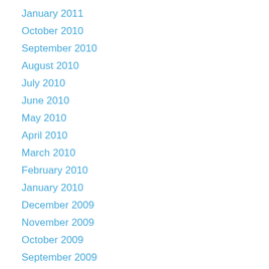January 2011
October 2010
September 2010
August 2010
July 2010
June 2010
May 2010
April 2010
March 2010
February 2010
January 2010
December 2009
November 2009
October 2009
September 2009
August 2009
July 2009
June 2009
March 2009
February 2009